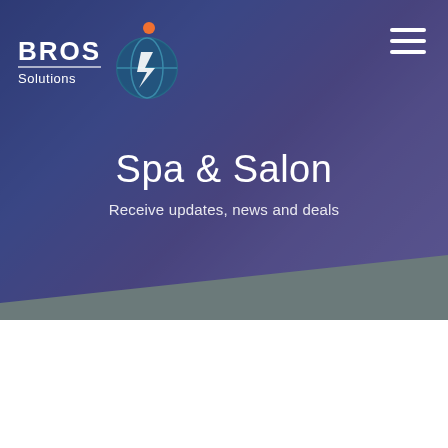[Figure (logo): BROS Solutions logo with circular icon featuring lightning bolt design and orange dot accent, on a dark blue-purple gradient background with a hamburger menu icon in top right]
Spa & Salon
Receive updates, news and deals